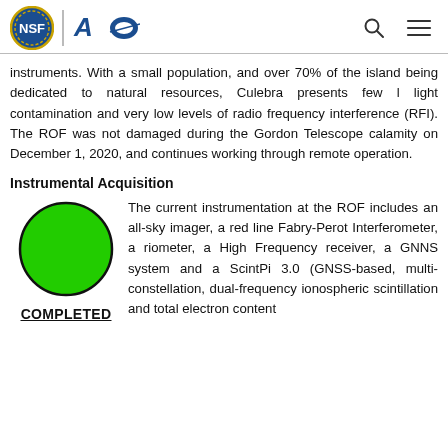NSF and Arecibo Observatory logos with search and menu icons
instruments. With a small population, and over 70% of the island being dedicated to natural resources, Culebra presents few l light contamination and very low levels of radio frequency interference (RFI). The ROF was not damaged during the Gordon Telescope calamity on December 1, 2020, and continues working through remote operation.
Instrumental Acquisition
[Figure (illustration): Green filled circle indicating completed status]
COMPLETED
The current instrumentation at the ROF includes an all-sky imager, a red line Fabry-Perot Interferometer, a riometer, a High Frequency receiver, a GNNS system and a ScintPi 3.0 (GNSS-based, multi-constellation, dual-frequency ionospheric scintillation and total electron content monitor).